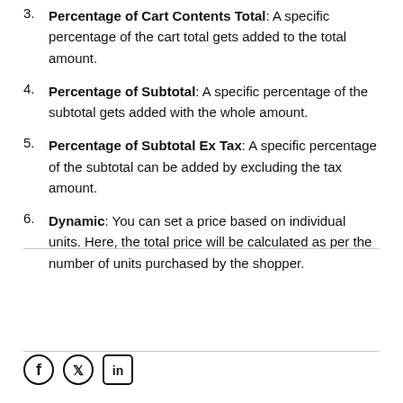3. Percentage of Cart Contents Total: A specific percentage of the cart total gets added to the total amount.
4. Percentage of Subtotal: A specific percentage of the subtotal gets added with the whole amount.
5. Percentage of Subtotal Ex Tax: A specific percentage of the subtotal can be added by excluding the tax amount.
6. Dynamic: You can set a price based on individual units. Here, the total price will be calculated as per the number of units purchased by the shopper.
[Figure (other): Social media icons: Facebook (circle), Twitter (circle), LinkedIn (square)]